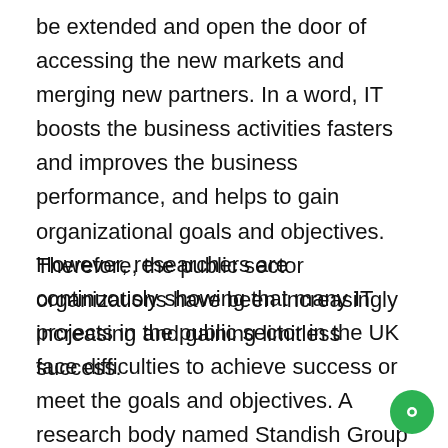be extended and open the door of accessing the new markets and merging new partners. In a word, IT boosts the business activities fasters and improves the business performance, and helps to gain organizational goals and objectives. Therefore, the public sector organizations have been increasingly increasing and gaining limitless success.
However, researchers are continuously showing that many IT projects in the public sector in the UK face difficulties to achieve success or meet the goals and objectives. A research body named Standish Group conducted a study on 30,000 IT projects and found that more large projects (mainly in public sector organizations) fail than smaller projects (The Standish Group International, 2016). The key reason behind of the large projects failure can be complexity. Although the success rate has been increas and the failure rate has been decreasing nowadays, still